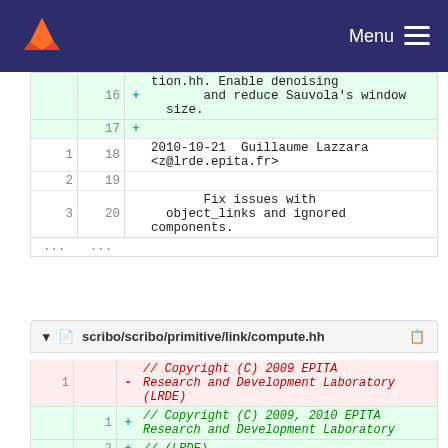Menu
| old | new | marker | code |
| --- | --- | --- | --- |
|  | 16 | + | and reduce Sauvola's window size. |
|  | 17 | + |  |
| 1 | 18 |  | 2010-10-21  Guillaume Lazzara <z@lrde.epita.fr> |
| 2 | 19 |  |  |
| 3 | 20 |  | Fix issues with object_links and ignored components. |
| ... | ... |  |  |
scribo/scribo/primitive/link/compute.hh
| old | new | marker | code |
| --- | --- | --- | --- |
| 1 |  | - | // Copyright (C) 2009 EPITA Research and Development Laboratory (LRDE) |
|  | 1 | + | // Copyright (C) 2009, 2010 EPITA Research and Development Laboratory |
|  | 2 | + | // (LRDE) |
| 2 | 3 |  | // |
| 3 | 4 |  | // This file is part of Olena... |